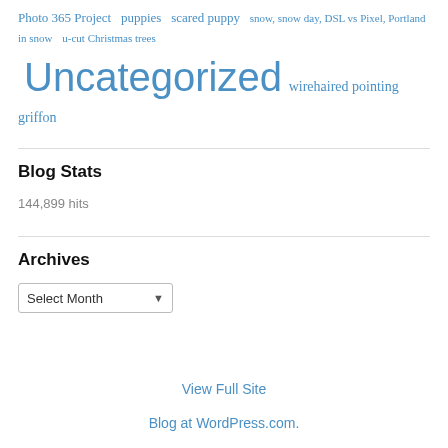Photo 365 Project  puppies  scared puppy  snow, snow day, DSL vs Pixel, Portland in snow  u-cut Christmas trees  Uncategorized  wirehaired pointing griffon
Blog Stats
144,899 hits
Archives
Select Month (dropdown)
View Full Site
Blog at WordPress.com.